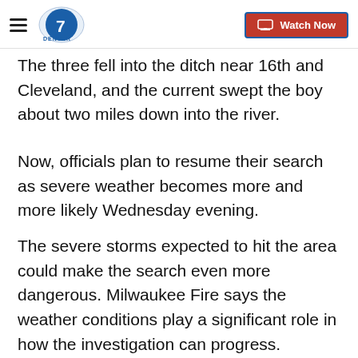Denver7 — Watch Now
The three fell into the ditch near 16th and Cleveland, and the current swept the boy about two miles down into the river.
Now, officials plan to resume their search as severe weather becomes more and more likely Wednesday evening.
The severe storms expected to hit the area could make the search even more dangerous. Milwaukee Fire says the weather conditions play a significant role in how the investigation can progress.